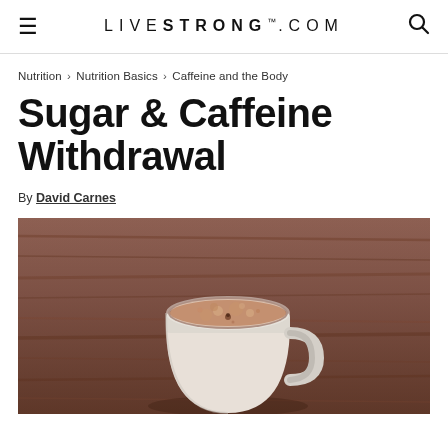LIVESTRONG.COM
Nutrition > Nutrition Basics > Caffeine and the Body
Sugar & Caffeine Withdrawal
By David Carnes
[Figure (photo): A white ceramic coffee mug filled with frothy coffee/hot chocolate, resting on a rustic wooden surface with warm brown tones.]